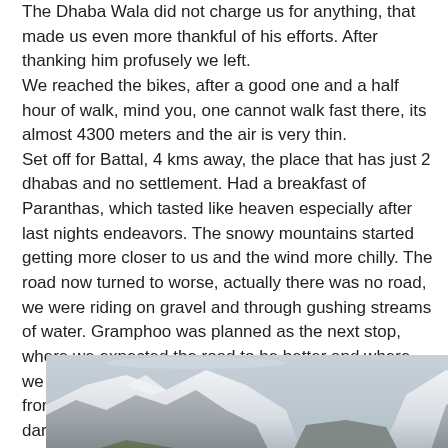The Dhaba Wala did not charge us for anything, that made us even more thankful of his efforts. After thanking him profusely we left.
We reached the bikes, after a good one and a half hour of walk, mind you, one cannot walk fast there, its almost 4300 meters and the air is very thin.
Set off for Battal, 4 kms away, the place that has just 2 dhabas and no settlement. Had a breakfast of Paranthas, which tasted like heaven especially after last nights endeavors. The snowy mountains started getting more closer to us and the wind more chilly. The road now turned to worse, actually there was no road, we were riding on gravel and through gushing streams of water. Gramphoo was planned as the next stop, where we expected the road to be better and where we enter the civilization again. It was a good 51 kms from Battal and the growing wind velocity and traces of dark clouds on the sky didn't help.
[Figure (photo): Snowy mountain peaks with rocky terrain and overcast sky, partially visible at the bottom of the page.]